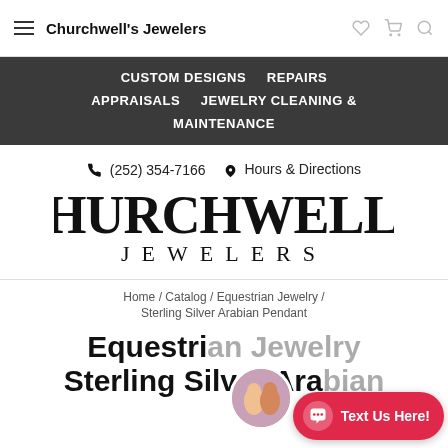Churchwell's Jewelers
CUSTOM DESIGNS   REPAIRS   APPRAISALS   JEWELRY CLEANING & MAINTENANCE
(252) 354-7166   Hours & Directions
[Figure (logo): Churchwell's Jewelers logo in large serif font]
Home / Catalog / Equestrian Jewelry / Sterling Silver Arabian Pendant
Equestrian Jewelry Sterling Silver Arabian